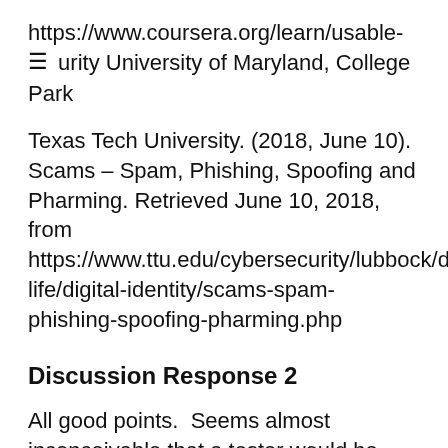https://www.coursera.org/learn/usable-
≡  urity University of Maryland, College Park
Texas Tech University. (2018, June 10). Scams – Spam, Phishing, Spoofing and Pharming. Retrieved June 10, 2018, from https://www.ttu.edu/cybersecurity/lubbock/digital-life/digital-identity/scams-spam-phishing-spoofing-pharming.php
Discussion Response 2
All good points.  Seems almost inconceivable that a tester would be testing something for which they have